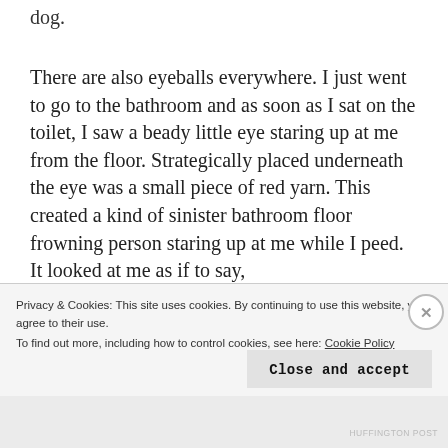dog.
There are also eyeballs everywhere. I just went to go to the bathroom and as soon as I sat on the toilet, I saw a beady little eye staring up at me from the floor. Strategically placed underneath the eye was a small piece of red yarn. This created a kind of sinister bathroom floor frowning person staring up at me while I peed. It looked at me as if to say,
Privacy & Cookies: This site uses cookies. By continuing to use this website, you agree to their use.
To find out more, including how to control cookies, see here: Cookie Policy
Close and accept